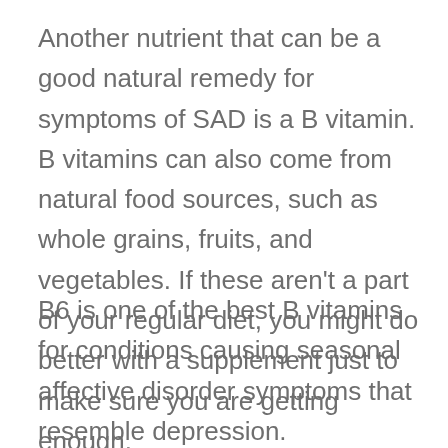Another nutrient that can be a good natural remedy for symptoms of SAD is a B vitamin. B vitamins can also come from natural food sources, such as whole grains, fruits, and vegetables. If these aren't a part of your regular diet, you might do better with a supplement just to make sure you are getting enough.
B6 is one of the best B vitamins for conditions causing seasonal affective disorder symptoms that resemble depression.